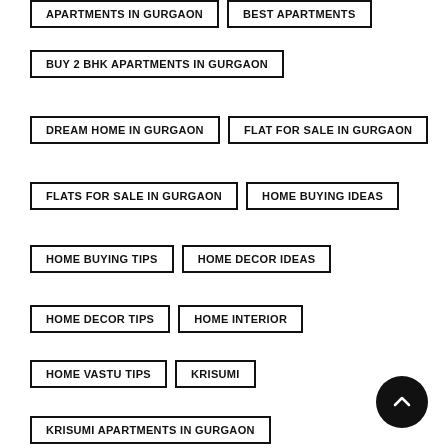APARTMENTS IN GURGAON
BEST APARTMENTS
BUY 2 BHK APARTMENTS IN GURGAON
DREAM HOME IN GURGAON
FLAT FOR SALE IN GURGAON
FLATS FOR SALE IN GURGAON
HOME BUYING IDEAS
HOME BUYING TIPS
HOME DECOR IDEAS
HOME DECOR TIPS
HOME INTERIOR
HOME VASTU TIPS
KRISUMI
KRISUMI APARTMENTS IN GURGAON
KRISUMI GURGAON APARTMENT
KRISUMI GURGAON APARTMENTS